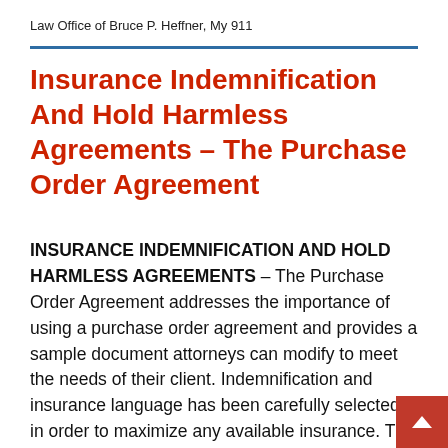Law Office of Bruce P. Heffner, My 911
Insurance Indemnification And Hold Harmless Agreements – The Purchase Order Agreement
INSURANCE INDEMNIFICATION AND HOLD HARMLESS AGREEMENTS – The Purchase Order Agreement addresses the importance of using a purchase order agreement and provides a sample document attorneys can modify to meet the needs of their client. Indemnification and insurance language has been carefully selected in order to maximize any available insurance. The purchase order agreement is a